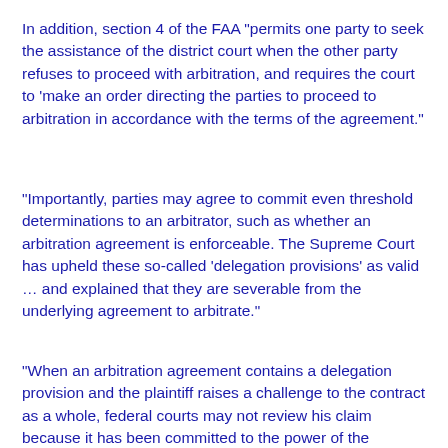In addition, section 4 of the FAA "permits one party to seek the assistance of the district court when the other party refuses to proceed with arbitration, and requires the court to 'make an order directing the parties to proceed to arbitration in accordance with the terms of the agreement."
"Importantly, parties may agree to commit even threshold determinations to an arbitrator, such as whether an arbitration agreement is enforceable. The Supreme Court has upheld these so-called 'delegation provisions' as valid … and explained that they are severable from the underlying agreement to arbitrate."
"When an arbitration agreement contains a delegation provision and the plaintiff raises a challenge to the contract as a whole, federal courts may not review his claim because it has been committed to the power of the arbitrator. Instead, the plaintiff must 'challenge the delegation